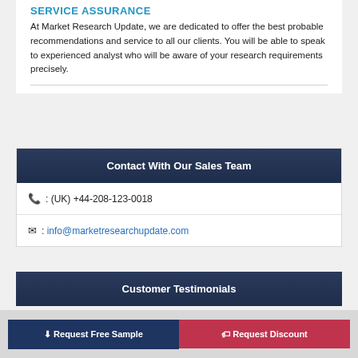SERVICE ASSURANCE
At Market Research Update, we are dedicated to offer the best probable recommendations and service to all our clients. You will be able to speak to experienced analyst who will be aware of your research requirements precisely.
Contact With Our Sales Team
☎ : (UK) +44-208-123-0018
✉ : info@marketresearchupdate.com
Customer Testimonials
⬇ Request Free Sample
🏷 Request Discount